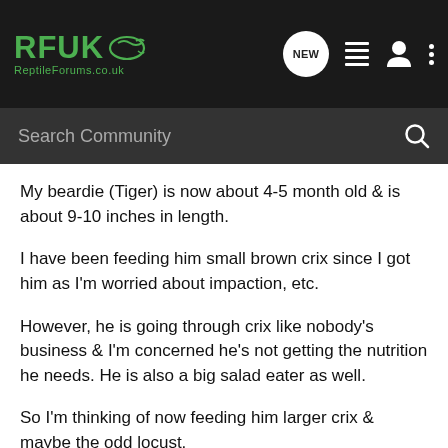RFUK ReptileForums.co.uk
My beardie (Tiger) is now about 4-5 month old & is about 9-10 inches in length.
I have been feeding him small brown crix since I got him as I'm worried about impaction, etc.
However, he is going through crix like nobody's business & I'm concerned he's not getting the nutrition he needs. He is also a big salad eater as well.
So I'm thinking of now feeding him larger crix & maybe the odd locust.
Is this too soon?